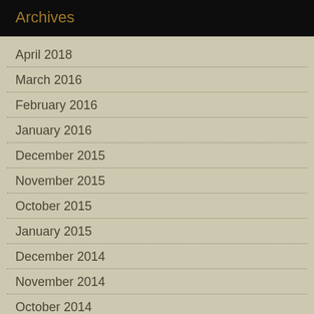Archives
April 2018
March 2016
February 2016
January 2016
December 2015
November 2015
October 2015
January 2015
December 2014
November 2014
October 2014
August 2014
May 2014